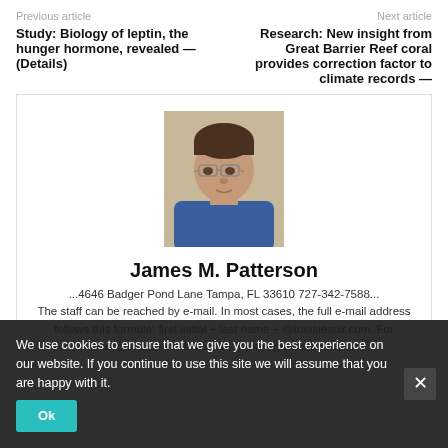Previous article   Next article
Study: Biology of leptin, the hunger hormone, revealed — (Details)
Research: New insight from Great Barrier Reef coral provides correction factor to climate records —
[Figure (photo): Headshot portrait of James M. Patterson, a middle-aged man with glasses wearing a blue shirt]
James M. Patterson
...4646 Badger Pond Lane Tampa, FL 33610 727-342-7588... The staff can be reached by e-mail. In most cases, the full e-mail address follows this formula: first initial + last name + @tunisiesoir.com. For example, Laura F. Nixon is LFNixon@tunisiesoir.com
We use cookies to ensure that we give you the best experience on our website. If you continue to use this site we will assume that you are happy with it.